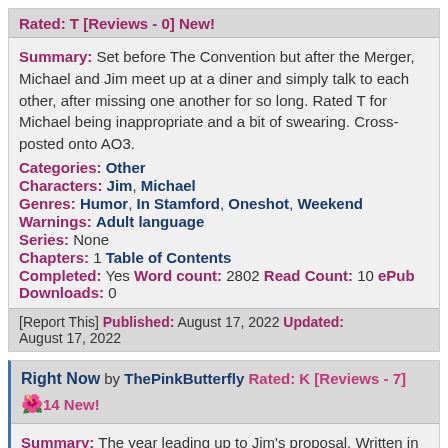Rated: T [Reviews - 0] New!
Summary: Set before The Convention but after the Merger, Michael and Jim meet up at a diner and simply talk to each other, after missing one another for so long. Rated T for Michael being inappropriate and a bit of swearing. Cross-posted onto AO3.
Categories: Other
Characters: Jim, Michael
Genres: Humor, In Stamford, Oneshot, Weekend
Warnings: Adult language
Series: None
Chapters: 1 Table of Contents
Completed: Yes Word count: 2802 Read Count: 10 ePub Downloads: 0
[Report This] Published: August 17, 2022 Updated: August 17, 2022
Right Now by ThePinkButterfly Rated: K [Reviews - 7] 🌺14 New!
Summary: The year leading up to Jim's proposal. Written in second person because I don't know how to do anything else anymore.
Categories: Jim and Pam